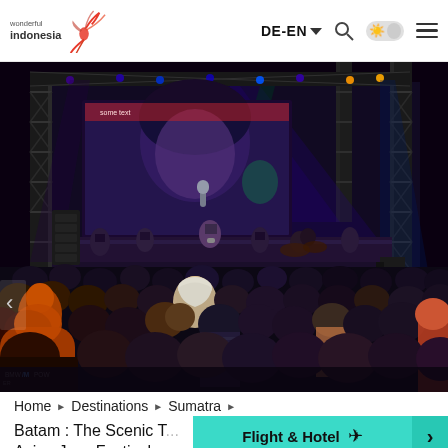wonderful indonesia | DE-EN
[Figure (photo): Outdoor night concert at an Asian Jazz Festival venue. A band performs on a well-lit stage with colorful spotlights (blue, green, purple), a large LED screen showing a close-up of a female singer with a microphone, and steel truss scaffolding. The foreground shows a large crowd watching from below, including people in casual and traditional attire. A person in a BMW M Power shirt is visible in the lower left.]
Home ▶ Destinations ▶ Sumatra ▶
Batam : The Scenic T... Asian Jazz Festival
Flight & Hotel ✈ ›